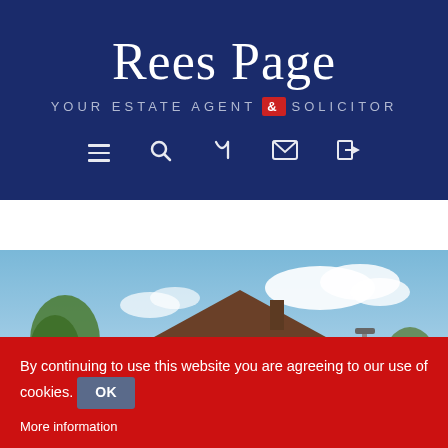[Figure (logo): Rees Page estate agent and solicitor logo on dark navy blue background with tagline YOUR ESTATE AGENT & SOLICITOR]
[Figure (screenshot): Navigation toolbar with dark navy background showing photo, map pin, and floorplan icon buttons]
[Figure (photo): Photograph of a detached residential house with brown brick, large front window bay, blue sky with white clouds, trees and a lamppost]
By continuing to use this website you are agreeing to our use of cookies. OK
More information